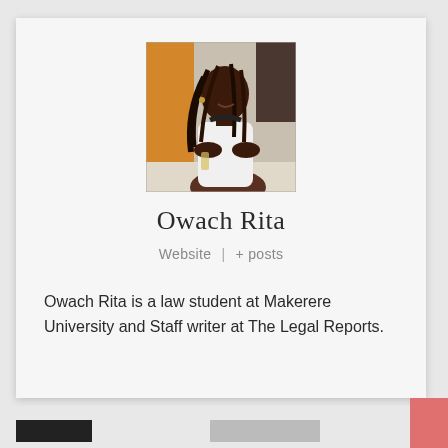[Figure (photo): Profile photo of Owach Rita, a woman with braided hair wearing a white sleeveless top, posed looking over her shoulder in an indoor setting with an orange column in the background.]
Owach Rita
Website  |  + posts
Owach Rita is a law student at Makerere University and Staff writer at The Legal Reports.